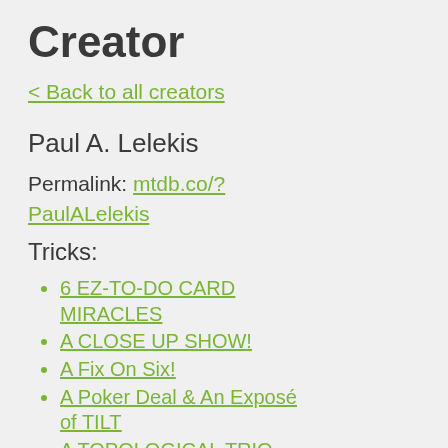Creator
< Back to all creators
Paul A. Lelekis
Permalink: mtdb.co/?PaulALelekis
Tricks:
6 EZ-TO-DO CARD MIRACLES
A CLOSE UP SHOW!
A Fix On Six!
A Poker Deal & An Exposé of TILT
A TOPOLOGICAL TRIO